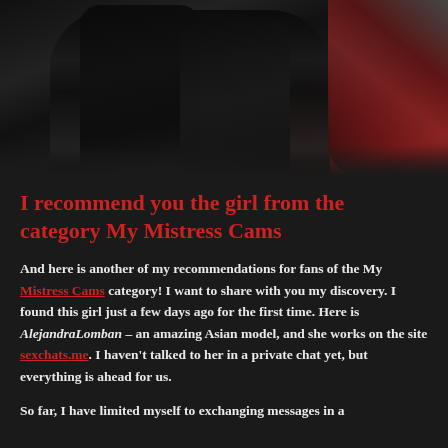[Figure (photo): A person wearing black leather outfit seated in a dark red chair, photographed from torso down showing leather boots with lace details]
I recommend you the girl from the category My Mistress Cams
And here is another of my recommendations for fans of the My Mistress Cams category! I want to share with you my discovery. I found this girl just a few days ago for the first time. Here is AlejandraLomban – an amazing Asian model, and she works on the site sexchats.me. I haven't talked to her in a private chat yet, but everything is ahead for us.
So far, I have limited myself to exchanging messages in a